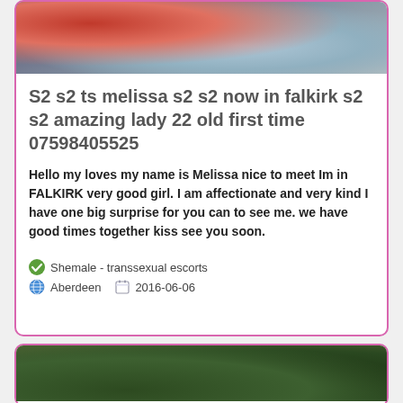[Figure (photo): Partial photo of a person visible at top of card, cropped]
S2 s2 ts melissa s2 s2 now in falkirk s2 s2 amazing lady 22 old first time 07598405525
Hello my loves my name is Melissa nice to meet Im in FALKIRK very good girl. I am affectionate and very kind I have one big surprise for you can to see me. we have good times together kiss see you soon.
Shemale - transsexual escorts
Aberdeen    2016-06-06
[Figure (photo): Partial photo visible at the bottom of the page, showing foliage/outdoor scene]